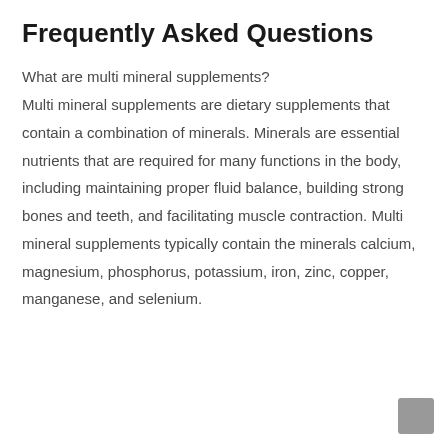Frequently Asked Questions
What are multi mineral supplements?
Multi mineral supplements are dietary supplements that contain a combination of minerals. Minerals are essential nutrients that are required for many functions in the body, including maintaining proper fluid balance, building strong bones and teeth, and facilitating muscle contraction. Multi mineral supplements typically contain the minerals calcium, magnesium, phosphorus, potassium, iron, zinc, copper, manganese, and selenium.